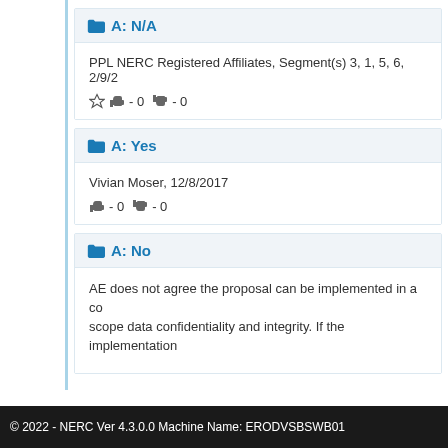A: N/A
PPL NERC Registered Affiliates, Segment(s) 3, 1, 5, 6, 2/9/2
- 0  - 0
A: Yes
Vivian Moser, 12/8/2017
- 0  - 0
A: No
AE does not agree the proposal can be implemented in a co... scope data confidentiality and integrity. If the implementation...
© 2022 - NERC Ver 4.3.0.0 Machine Name: ERODVSBSWB01